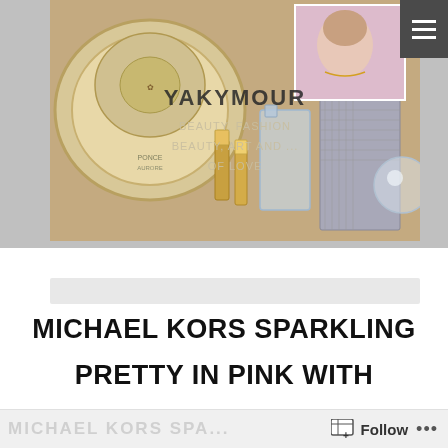[Figure (photo): Blog header banner image showing luxury cosmetics, perfume bottles, and a woman's photo in background, with overlaid blog title text YAKYMOUR and subtitle BEAUTY FASHION / BEAUTY ART AND ... OF LOVE]
YAKYMOUR
BEAUTY, FASHION
BEAUTY, ART AND ...
OF LOVE
MICHAEL KORS SPARKLING PRETTY IN PINK WITH